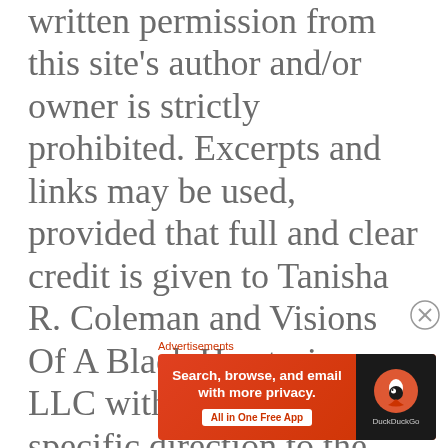written permission from this site's author and/or owner is strictly prohibited. Excerpts and links may be used, provided that full and clear credit is given to Tanisha R. Coleman and Visions Of A Black Herstorian, LLC with appropriate and specific direction to the original content.
Advertisements
[Figure (screenshot): DuckDuckGo advertisement banner with orange/red background. Left side shows text 'Search, browse, and email with more privacy. All in One Free App' with a white button. Right side shows DuckDuckGo logo on dark background.]